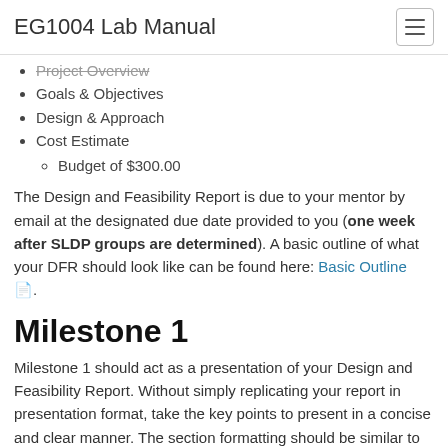EG1004 Lab Manual
Project Overview (strikethrough)
Goals & Objectives
Design & Approach
Cost Estimate
Budget of $300.00
The Design and Feasibility Report is due to your mentor by email at the designated due date provided to you (one week after SLDP groups are determined). A basic outline of what your DFR should look like can be found here: Basic Outline.
Milestone 1
Milestone 1 should act as a presentation of your Design and Feasibility Report. Without simply replicating your report in presentation format, take the key points to present in a concise and clear manner. The section formatting should be similar to that of the report. It is important that you outline your project goals and show that your project is realizable. This includes:
Project Overview
Goals & Objectives